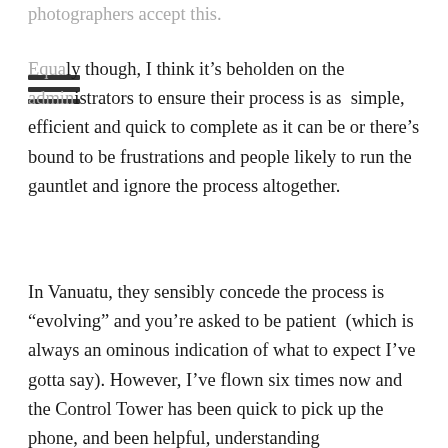photographers accept this.
Equally though, I think it’s beholden on the administrators to ensure their process is as simple, efficient and quick to complete as it can be or there’s bound to be frustrations and people likely to run the gauntlet and ignore the process altogether.
In Vanuatu, they sensibly concede the process is “evolving” and you’re asked to be patient (which is always an ominous indication of what to expect I’ve gotta say). However, I’ve flown six times now and the Control Tower has been quick to pick up the phone, and been helpful, understanding